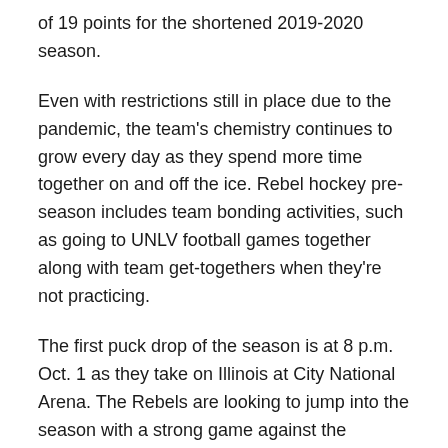of 19 points for the shortened 2019-2020 season.
Even with restrictions still in place due to the pandemic, the team's chemistry continues to grow every day as they spend more time together on and off the ice. Rebel hockey pre-season includes team bonding activities, such as going to UNLV football games together along with team get-togethers when they're not practicing.
The first puck drop of the season is at 8 p.m. Oct. 1 as they take on Illinois at City National Arena. The Rebels are looking to jump into the season with a strong game against the Fighting Illini.
The Skatin' Rebels will host 16 games this year, while traveling for seven away series. They will return home to conclude the season with two series, the first against Grand